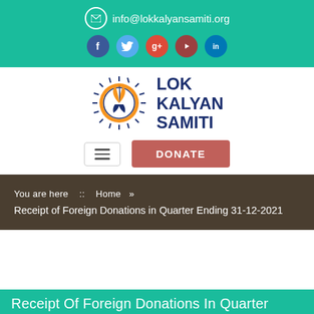info@lokkalyansamiti.org
[Figure (logo): Lok Kalyan Samiti logo with orange tulip in circle with sun rays, dark blue text]
DONATE
You are here :: Home » Receipt of Foreign Donations in Quarter Ending 31-12-2021
Receipt Of Foreign Donations In Quarter